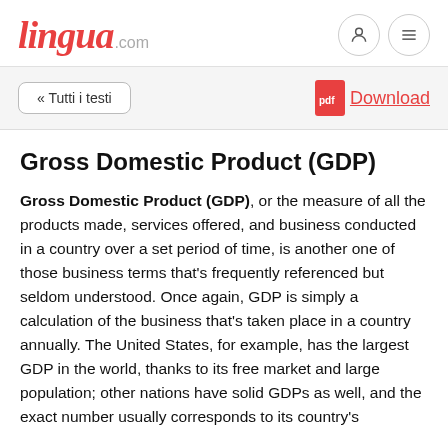lingua.com
Gross Domestic Product (GDP)
Gross Domestic Product (GDP), or the measure of all the products made, services offered, and business conducted in a country over a set period of time, is another one of those business terms that’s frequently referenced but seldom understood. Once again, GDP is simply a calculation of the business that’s taken place in a country annually. The United States, for example, has the largest GDP in the world, thanks to its free market and large population; other nations have solid GDPs as well, and the exact number usually corresponds to its country’s